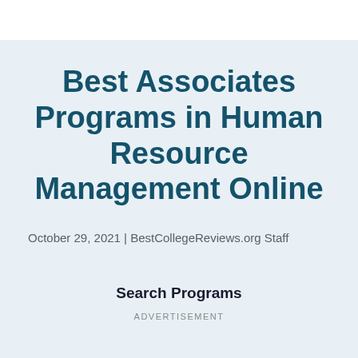Best Associates Programs in Human Resource Management Online
October 29, 2021 | BestCollegeReviews.org Staff
Search Programs
ADVERTISEMENT